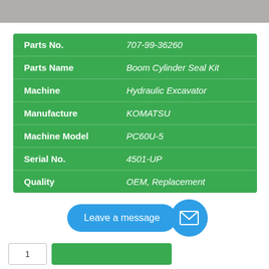[Figure (photo): Photo banner of a mechanical part (boom cylinder seal kit) at the top of the page]
| Field | Value |
| --- | --- |
| Parts No. | 707-99-36260 |
| Parts Name | Boom Cylinder Seal Kit |
| Machine | Hydraulic Excavator |
| Manufacture | KOMATSU |
| Machine Model | PC60U-5 |
| Serial No. | 4501-UP |
| Quality | OEM, Replacement |
Leave a message